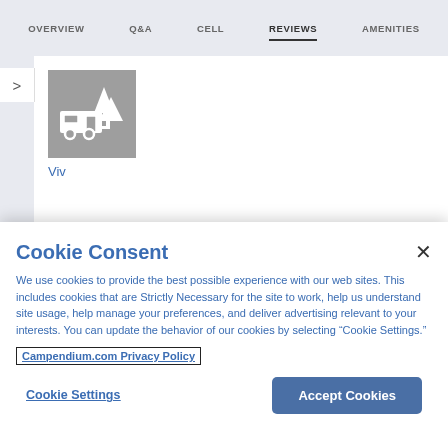OVERVIEW  Q&A  CELL  REVIEWS  AMENITIES
[Figure (screenshot): Campendium RV park listing page showing navigation tabs (OVERVIEW, Q&A, CELL, REVIEWS, AMENITIES) with REVIEWS underlined/active, a white card with a grey campsite thumbnail icon and 'Viv' label below it]
Cookie Consent
We use cookies to provide the best possible experience with our web sites. This includes cookies that are Strictly Necessary for the site to work, help us understand site usage, help manage your preferences, and deliver advertising relevant to your interests. You can update the behavior of our cookies by selecting “Cookie Settings.”
Campendium.com Privacy Policy
Cookie Settings
Accept Cookies